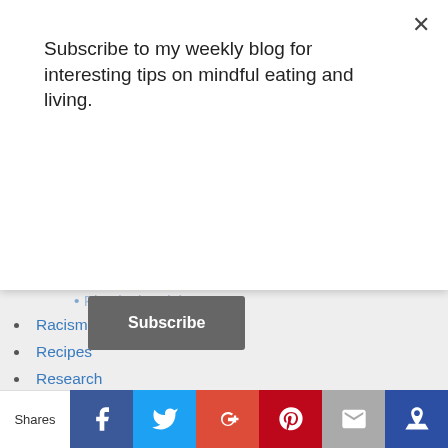Subscribe to my weekly blog for interesting tips on mindful eating and living.
Subscribe
Physical Activity (partial, cut off)
Racism
Recipes
Research
Resources
Savor
Savor Every Bite
self-compassion
Stress
Tasting Mindfulness
travel
Uncategorized
Workplace Wellness
world mindful eating month (partial)
Shares | Facebook | Twitter | Google+ | Pinterest | Email | Crown